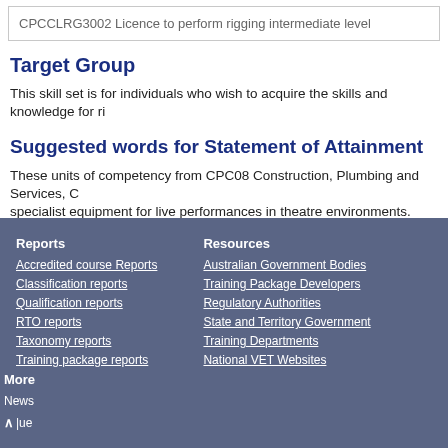| CPCCLRG3002 Licence to perform rigging intermediate level |
Target Group
This skill set is for individuals who wish to acquire the skills and knowledge for ri...
Suggested words for Statement of Attainment
These units of competency from CPC08 Construction, Plumbing and Services, C... specialist equipment for live performances in theatre environments.
Reports | Resources | More
Accredited course Reports | Australian Government Bodies | News
Classification reports | Training Package Developers
Qualification reports | Regulatory Authorities
RTO reports | State and Territory Government
Taxonomy reports | Training Departments
Training package reports | National VET Websites